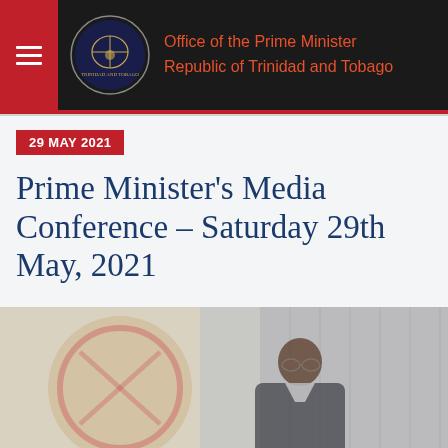Office of the Prime Minister
Republic of Trinidad and Tobago
29 MAY 2021
Prime Minister's Media Conference – Saturday 29th May, 2021
[Figure (photo): Photo of Prime Minister at podium with Trinidad and Tobago coat of arms emblem visible in background and gray curtains behind]